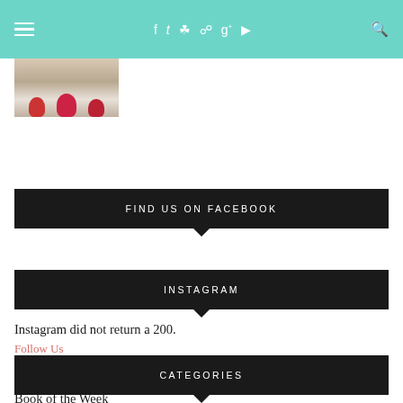Navigation bar with hamburger menu, social icons (f, twitter, instagram, pinterest, g+, youtube), and search icon
[Figure (photo): Thumbnail image of children wearing colorful hats in snow]
FIND US ON FACEBOOK
INSTAGRAM
Instagram did not return a 200.
Follow Us
CATEGORIES
Book of the Week